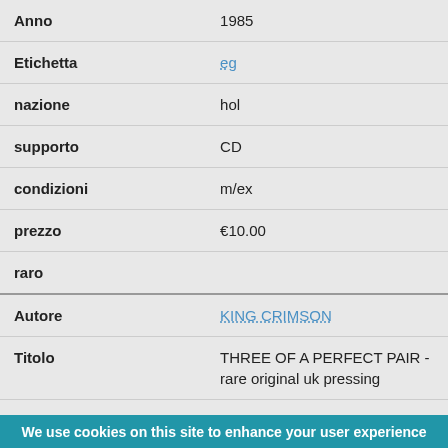| Anno | 1985 |
| Etichetta | eg |
| nazione | hol |
| supporto | CD |
| condizioni | m/ex |
| prezzo | €10.00 |
| raro |  |
| Autore | KING CRIMSON |
| Titolo | THREE OF A PERFECT PAIR - rare original uk pressing |
| Anno | 1984 |
| Etichetta | eg |
| nazione | uk |
| supporto | LP |
| condizioni | ex/m |
| prezzo | €40.00 |
We use cookies on this site to enhance your user experience